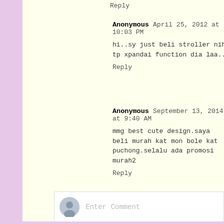Reply
Anonymous April 25, 2012 at 10:03 PM
hi..sy just beli stroller nih tp xpandai function dia laa..
Reply
Anonymous September 13, 2014 at 9:40 AM
mmg best cute design.saya beli murah kat mon bole kat puchong.selalu ada promosi murah2
Reply
Enter Comment